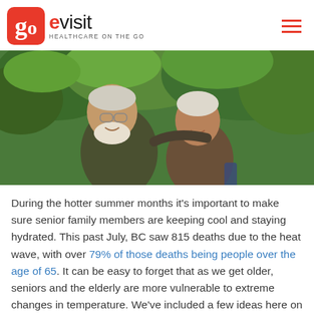go evisit — HEALTHCARE ON THE GO
[Figure (photo): Two smiling elderly people, a man with white beard and glasses and a woman with white hair, standing together outdoors in front of green trees.]
During the hotter summer months it's important to make sure senior family members are keeping cool and staying hydrated. This past July, BC saw 815 deaths due to the heat wave, with over 79% of those deaths being people over the age of 65. It can be easy to forget that as we get older, seniors and the elderly are more vulnerable to extreme changes in temperature. We've included a few ideas here on how to help